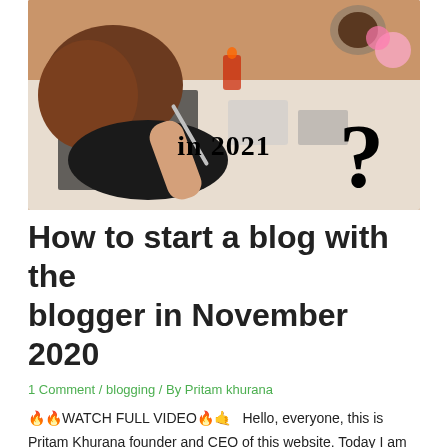[Figure (photo): Photo of a woman writing/working at a desk from above, with items like a coffee cup and papers around. Overlaid text reads 'in 2021' and a large question mark on the right side.]
How to start a blog with the blogger in November 2020
1 Comment / blogging / By Pritam khurana
🔥🔥WATCH FULL VIDEO🔥🤙   Hello, everyone, this is Pritam Khurana founder and CEO of this website. Today I am going to tell you how to start a blog with the blogger in a few steps. As we all